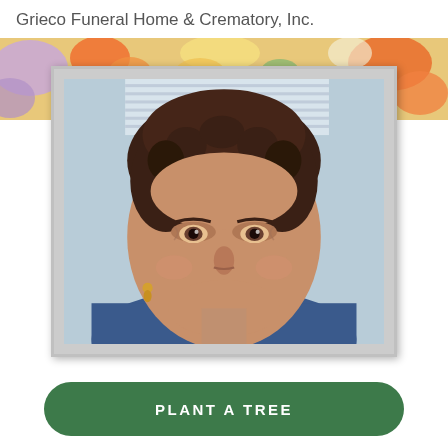Grieco Funeral Home & Crematory, Inc.
[Figure (photo): Portrait photo of an elderly woman with short brown curly hair, smiling gently, wearing a gold earring, seated in front of a blue background, displayed in a white/cream picture frame with a floral banner behind it.]
PLANT A TREE